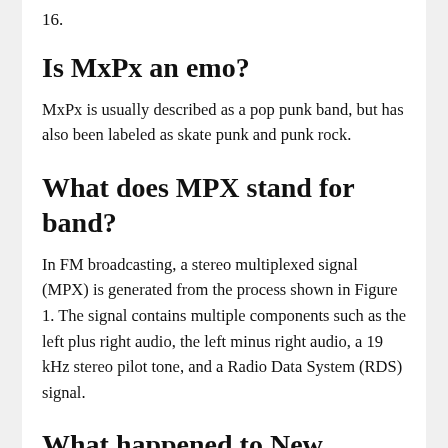16.
Is MxPx an emo?
MxPx is usually described as a pop punk band, but has also been labeled as skate punk and punk rock.
What does MPX stand for band?
In FM broadcasting, a stereo multiplexed signal (MPX) is generated from the process shown in Figure 1. The signal contains multiple components such as the left plus right audio, the left minus right audio, a 19 kHz stereo pilot tone, and a Radio Data System (RDS) signal.
What happened to New